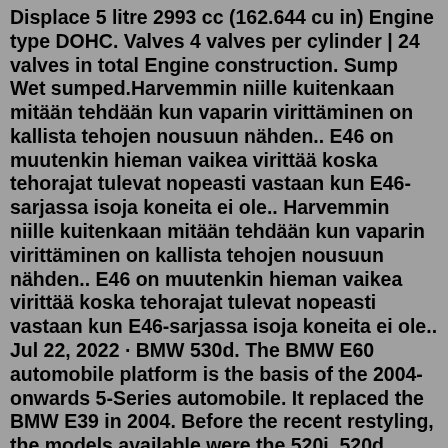Displace 5 litre 2993 cc (162.644 cu in) Engine type DOHC. Valves 4 valves per cylinder | 24 valves in total Engine construction. Sump Wet sumped.Harvemmin niille kuitenkaan mitään tehdään kun vaparin virittäminen on kallista tehojen nousuun nähden.. E46 on muutenkin hieman vaikea virittää koska tehorajat tulevat nopeasti vastaan kun E46-sarjassa isoja koneita ei ole.. Harvemmin niille kuitenkaan mitään tehdään kun vaparin virittäminen on kallista tehojen nousuun nähden.. E46 on muutenkin hieman vaikea virittää koska tehorajat tulevat nopeasti vastaan kun E46-sarjassa isoja koneita ei ole.. Jul 22, 2022 · BMW 530d. The BMW E60 automobile platform is the basis of the 2004-onwards 5-Series automobile. It replaced the BMW E39 in 2004. Before the recent restyling, the models available were the 520i, 520d, 525i, 525d, 530i, 530d, 535d, 545i, and the M5. All models received an engine upgrade for 2006: Autodata Technical Data for tightening sequence and torques. How to Replace timing chain on BMW 530D E60 E61 2005-2010 This